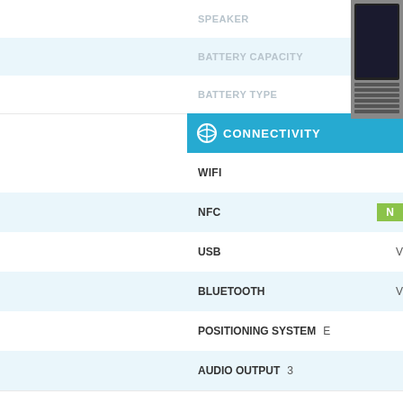SPEAKER
BATTERY CAPACITY
BATTERY TYPE
CONNECTIVITY
WIFI
NFC
USB
BLUETOOTH
POSITIONING SYSTEM
AUDIO OUTPUT
CELLULAR NETWORK
NETWORK COMPATIBILITY
SIM CARDS
GPRS
EDGE